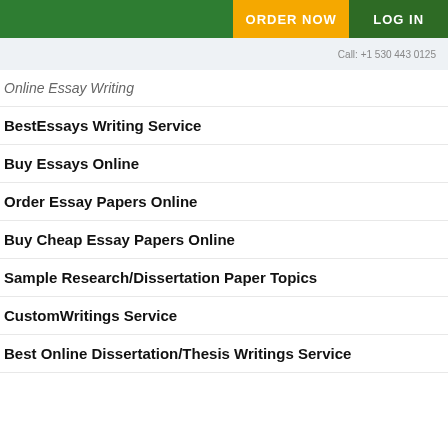ORDER NOW | LOG IN
Call: +1 530 443 0125
Online Essay Writing
BestEssays Writing Service
Buy Essays Online
Order Essay Papers Online
Buy Cheap Essay Papers Online
Sample Research/Dissertation Paper Topics
CustomWritings Service
Best Online Dissertation/Thesis Writings Service